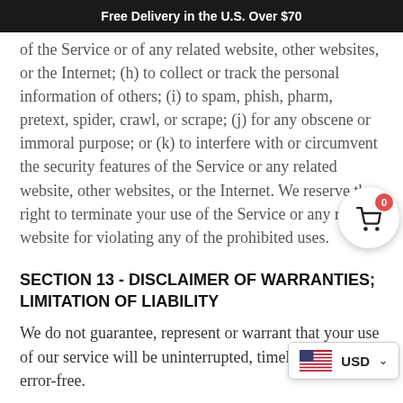Free Delivery in the U.S. Over $70
of the Service or of any related website, other websites, or the Internet; (h) to collect or track the personal information of others; (i) to spam, phish, pharm, pretext, spider, crawl, or scrape; (j) for any obscene or immoral purpose; or (k) to interfere with or circumvent the security features of the Service or any related website, other websites, or the Internet. We reserve the right to terminate your use of the Service or any related website for violating any of the prohibited uses.
SECTION 13 - DISCLAIMER OF WARRANTIES; LIMITATION OF LIABILITY
We do not guarantee, represent or warrant that your use of our service will be uninterrupted, timely, secure or error-free.
We do not warrant that the results that may be